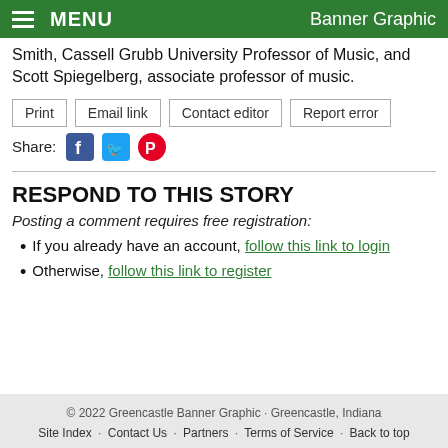MENU  Banner Graphic
Smith, Cassell Grubb University Professor of Music, and Scott Spiegelberg, associate professor of music.
Print  Email link  Contact editor  Report error
Share:
RESPOND TO THIS STORY
Posting a comment requires free registration:
If you already have an account, follow this link to login
Otherwise, follow this link to register
© 2022 Greencastle Banner Graphic · Greencastle, Indiana
Site Index · Contact Us · Partners · Terms of Service · Back to top